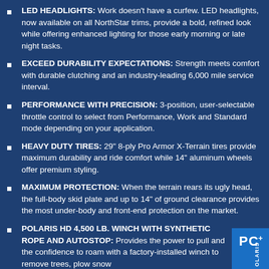LED HEADLIGHTS: Work doesn't have a curfew. LED headlights, now available on all NorthStar trims, provide a bold, refined look while offering enhanced lighting for those early morning or late night tasks.
EXCEED DURABILITY EXPECTATIONS: Strength meets comfort with durable clutching and an industry-leading 6,000 mile service interval.
PERFORMANCE WITH PRECISION: 3-position, user-selectable throttle control to select from Performance, Work and Standard mode depending on your application.
HEAVY DUTY TIRES: 29" 8-ply Pro Armor X-Terrain tires provide maximum durability and ride comfort while 14" aluminum wheels offer premium styling.
MAXIMUM PROTECTION: When the terrain rears its ugly head, the full-body skid plate and up to 14" of ground clearance provides the most under-body and front-end protection on the market.
POLARIS HD 4,500 LB. WINCH WITH SYNTHETIC ROPE AND AUTOSTOP: Provides the power to pull and the confidence to roam with a factory-installed winch to remove trees, plow snow